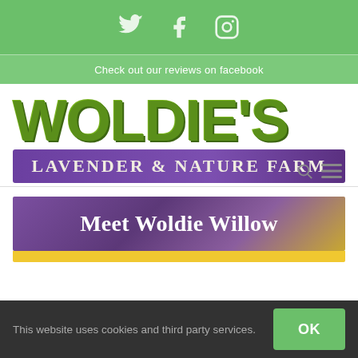[Figure (logo): Social media icons bar: Twitter (bird), Facebook, Instagram icons in white on green background]
Check out our reviews on facebook
[Figure (logo): Woldie's Lavender & Nature Farm logo - large green painted lettering 'WOLDIE'S' above purple banner reading 'LAVENDER & NATURE FARM']
[Figure (infographic): Purple gradient banner reading 'Meet Woldie Willow' with yellow bar below]
This website uses cookies and third party services.